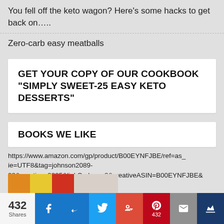You fell off the keto wagon? Here's some hacks to get back on…..
Zero-carb easy meatballs
GET YOUR COPY OF OUR COOKBOOK "SIMPLY SWEET-25 EASY KETO DESSERTS"
BOOKS WE LIKE
https://www.amazon.com/gp/product/B00EYNFJBE/ref=as_ie=UTF8&tag=johnson2089-20&creative=9325&linkCode=as2&creativeASIN=B00EYNFJBE&
432 Shares | Facebook | Facebook Like | Twitter | Google+ | Pinterest 432 | Mail | Crown